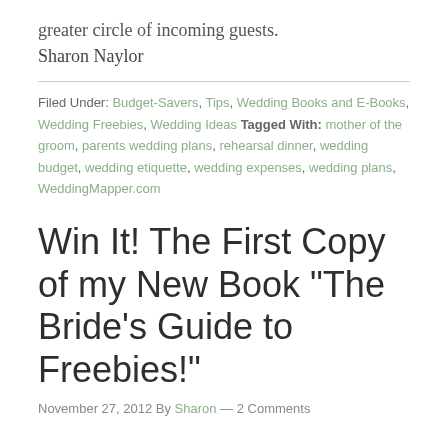greater circle of incoming guests.
Sharon Naylor
Filed Under: Budget-Savers, Tips, Wedding Books and E-Books, Wedding Freebies, Wedding Ideas Tagged With: mother of the groom, parents wedding plans, rehearsal dinner, wedding budget, wedding etiquette, wedding expenses, wedding plans, WeddingMapper.com
Win It! The First Copy of my New Book "The Bride's Guide to Freebies!"
November 27, 2012 By Sharon — 2 Comments